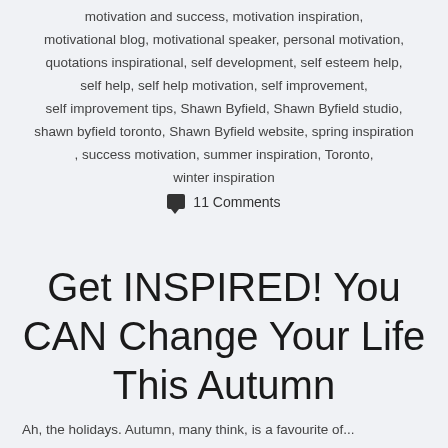motivation and success, motivation inspiration, motivational blog, motivational speaker, personal motivation, quotations inspirational, self development, self esteem help, self help, self help motivation, self improvement, self improvement tips, Shawn Byfield, Shawn Byfield studio, shawn byfield toronto, Shawn Byfield website, spring inspiration, success motivation, summer inspiration, Toronto, winter inspiration
💬 11 Comments
Get INSPIRED! You CAN Change Your Life This Autumn
Ah, the holidays. Autumn, many think, is a favourite of...